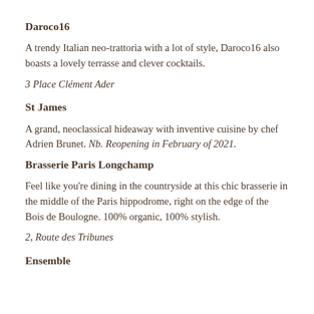Daroco16
A trendy Italian neo-trattoria with a lot of style, Daroco16 also boasts a lovely terrasse and clever cocktails.
3 Place Clément Ader
St James
A grand, neoclassical hideaway with inventive cuisine by chef Adrien Brunet. Nb. Reopening in February of 2021.
Brasserie Paris Longchamp
Feel like you're dining in the countryside at this chic brasserie in the middle of the Paris hippodrome, right on the edge of the Bois de Boulogne. 100% organic, 100% stylish.
2, Route des Tribunes
Ensemble